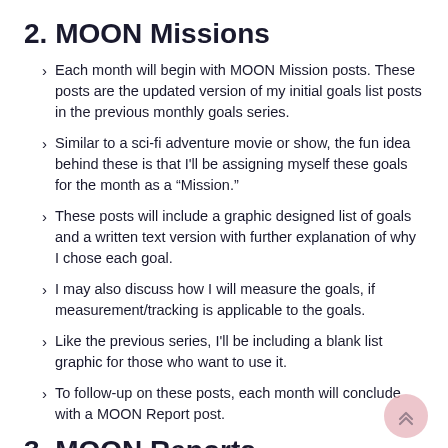2. MOON Missions
Each month will begin with MOON Mission posts. These posts are the updated version of my initial goals list posts in the previous monthly goals series.
Similar to a sci-fi adventure movie or show, the fun idea behind these is that I'll be assigning myself these goals for the month as a “Mission.”
These posts will include a graphic designed list of goals and a written text version with further explanation of why I chose each goal.
I may also discuss how I will measure the goals, if measurement/tracking is applicable to the goals.
Like the previous series, I'll be including a blank list graphic for those who want to use it.
To follow-up on these posts, each month will conclude with a MOON Report post.
3. MOON Reports
Each month will end with a MOON Report post to follow-up